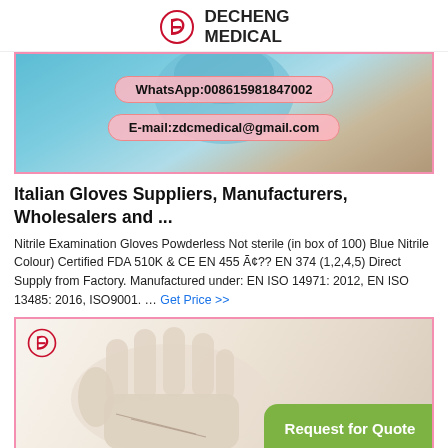DECHENG MEDICAL
[Figure (photo): Blue nitrile gloves being worn, with WhatsApp and email contact overlays on pink background badges]
Italian Gloves Suppliers, Manufacturers, Wholesalers and ...
Nitrile Examination Gloves Powderless Not sterile (in box of 100) Blue Nitrile Colour) Certified FDA 510K & CE EN 455 Ã¢?? EN 374 (1,2,4,5) Direct Supply from Factory. Manufactured under: EN ISO 14971: 2012, EN ISO 13485: 2016, ISO9001. … Get Price >>
[Figure (photo): Latex/nitrile gloves (cream/white) displayed with hands open, Decheng Medical logo top left, Request for Quote green button bottom right]